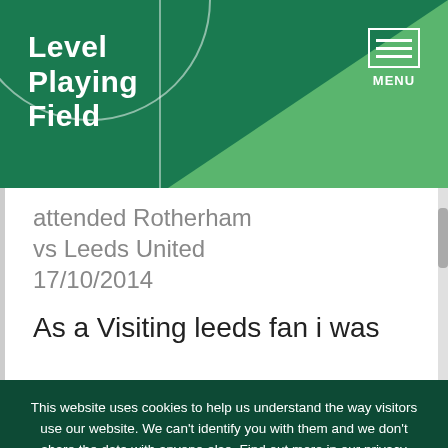[Figure (logo): Level Playing Field website header with green background, diagonal lighter green shape, abstract football pitch arc lines, and logo text]
attended Rotherham vs Leeds United 17/10/2014
As a Visiting leeds fan i was
This website uses cookies to help us understand the way visitors use our website. We can't identify you with them and we don't share the data with anyone else. Find out more in our privacy policy.
Accept cookies
Reject cookies